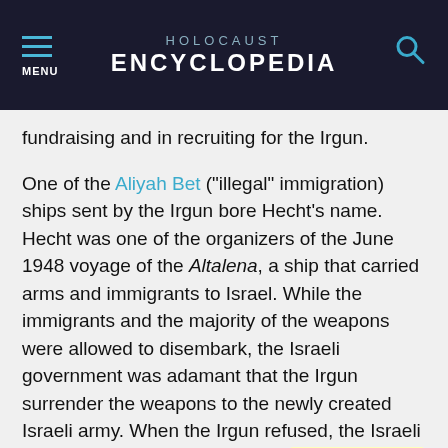HOLOCAUST ENCYCLOPEDIA
fundraising and in recruiting for the Irgun.
One of the Aliyah Bet ("illegal" immigration) ships sent by the Irgun bore Hecht's name. Hecht was one of the organizers of the June 1948 voyage of the Altalena, a ship that carried arms and immigrants to Israel. While the immigrants and the majority of the weapons were allowed to disembark, the Israeli government was adamant that the Irgun surrender the weapons to the newly created Israeli army. When the Irgun refused, the Israeli government sank the ship.
Hecht withdrew from Zionist activities after